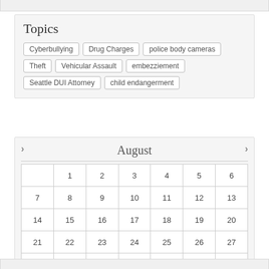Topics
Cyberbullying
Drug Charges
police body cameras
Theft
Vehicular Assault
embezziement
Seattle DUI Attorney
child endangerment
[Figure (other): August calendar widget showing a monthly calendar grid for August with dates 1-31 arranged in 7 columns, navigation arrows on left and right]
|  | 1 | 2 | 3 | 4 | 5 | 6 |
| 7 | 8 | 9 | 10 | 11 | 12 | 13 |
| 14 | 15 | 16 | 17 | 18 | 19 | 20 |
| 21 | 22 | 23 | 24 | 25 | 26 | 27 |
| 28 | 29 | 30 | 31 |  |  |  |